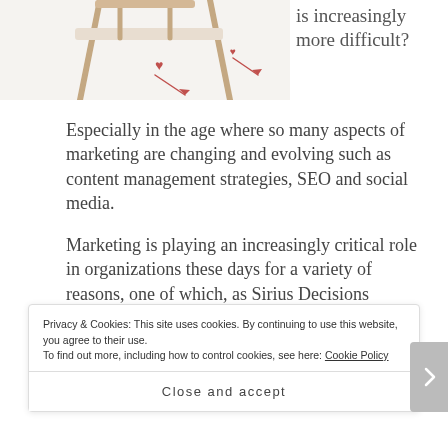[Figure (illustration): Partial illustration showing chair legs and decorative heart/arrow motifs on white background, top portion of a lifestyle image]
is increasingly more difficult?
Especially in the age where so many aspects of marketing are changing and evolving such as content management strategies, SEO and social media.
Marketing is playing an increasingly critical role in organizations these days for a variety of reasons, one of which, as Sirius Decisions describes is that
Privacy & Cookies: This site uses cookies. By continuing to use this website, you agree to their use.
To find out more, including how to control cookies, see here: Cookie Policy
Close and accept